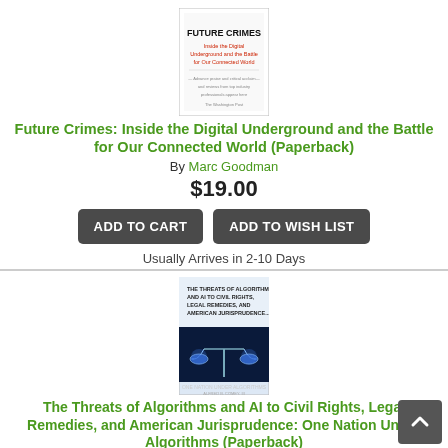[Figure (photo): Book cover of Future Crimes by Marc Goodman showing title text and subtitle]
Future Crimes: Inside the Digital Underground and the Battle for Our Connected World (Paperback)
By Marc Goodman
$19.00
ADD TO CART
ADD TO WISH LIST
Usually Arrives in 2-10 Days
[Figure (photo): Book cover of The Threats of Algorithms and AI to Civil Rights, Legal Remedies, and American Jurisprudence: One Nation Under Algorithms, showing scales of justice in blue digital style]
The Threats of Algorithms and AI to Civil Rights, Legal Remedies, and American Jurisprudence: One Nation Under Algorithms (Paperback)
By Alfred B. Comey